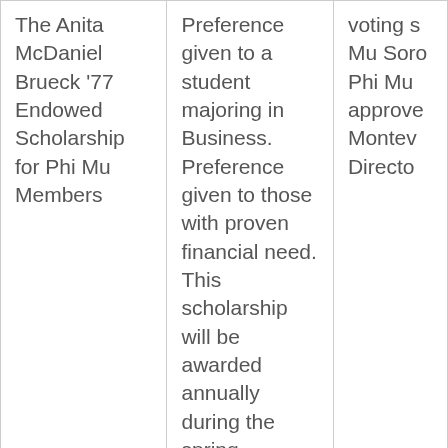| The Anita McDaniel Brueck '77 Endowed Scholarship for Phi Mu Members | Preference given to a student majoring in Business. Preference given to those with proven financial need. This scholarship will be awarded annually during the spring semester and is not renewable. | voting s... Mu Soro... Phi Mu ... approve... Montev... Directo... |
|  | Recipient will be determined on an annual basis and will be awarded $500 per semester for 2 semesters or $1,000 |  |